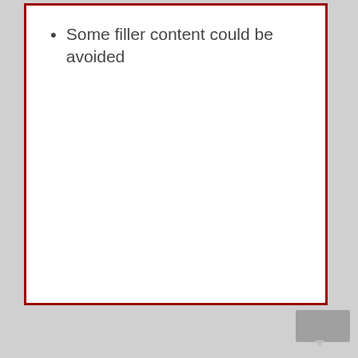Some filler content could be avoided